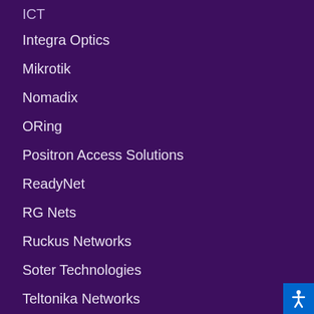ICT
Integra Optics
Mikrotik
Nomadix
ORing
Positron Access Solutions
ReadyNet
RG Nets
Ruckus Networks
Soter Technologies
Teltonika Networks
Tripp Lite
viaPhoton
WhyReboot
ZyXEL